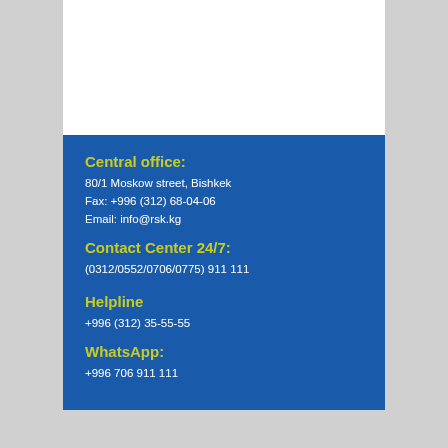Central office:
80/1 Moskow street, Bishkek
Fax: +996 (312) 68-04-06
Email: info@rsk.kg
Contact Center 24/7:
(0312/0552/0706/0775) 911 111
Helpline
+996 (312) 35-55-55
WhatsApp:
+996 706 911 111